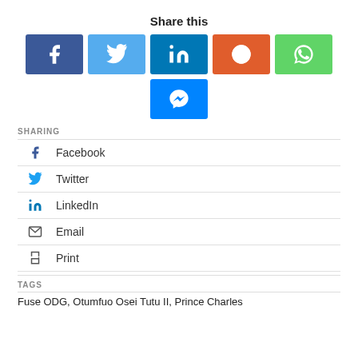Share this
[Figure (infographic): Social share buttons: Facebook (dark blue), Twitter (light blue), LinkedIn (dark teal), Reddit (orange), WhatsApp (green), Messenger (blue)]
SHARING
Facebook
Twitter
LinkedIn
Email
Print
TAGS
Fuse ODG, Otumfuo Osei Tutu II, Prince Charles